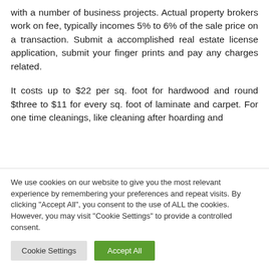with a number of business projects. Actual property brokers work on fee, typically incomes 5% to 6% of the sale price on a transaction. Submit a accomplished real estate license application, submit your finger prints and pay any charges related.
It costs up to $22 per sq. foot for hardwood and round $three to $11 for every sq. foot of laminate and carpet. For one time cleanings, like cleaning after hoarding and
We use cookies on our website to give you the most relevant experience by remembering your preferences and repeat visits. By clicking "Accept All", you consent to the use of ALL the cookies. However, you may visit "Cookie Settings" to provide a controlled consent.